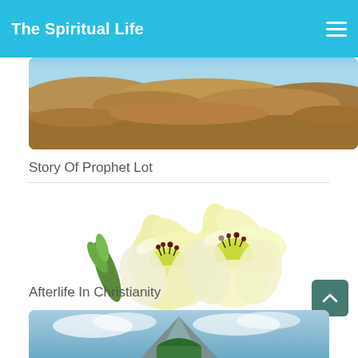The Spiritual Life
[Figure (photo): Sandy desert landscape with rocky/sandy terrain under blue sky]
Story Of Prophet Lot
[Figure (photo): Two yellow lily flowers with red stamens and a green bud]
Afterlife In Christianity
[Figure (photo): Partial view of a mountainous landscape with blue sky]